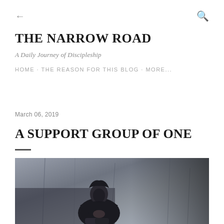← (back arrow)   Q (search icon)
THE NARROW ROAD
A Daily Journey of Discipleship
HOME · THE REASON FOR THIS BLOG · MORE...
March 06, 2019
A SUPPORT GROUP OF ONE
[Figure (photo): A person wearing a black hoodie sits against a grungy concrete wall with hands clasped near their face, in a dark, moody black and white style photograph.]